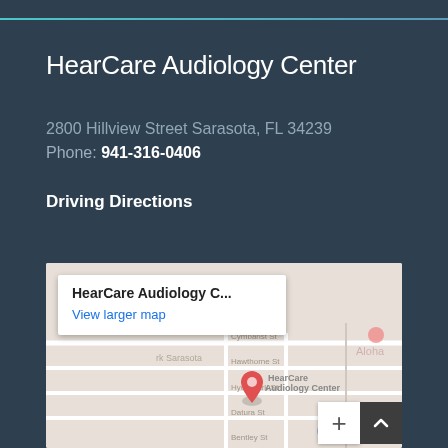HearCare Audiology Center
2800 Hillview Street Sarasota, FL 34239
Phone: 941-316-0406
Driving Directions
[Figure (map): Google Maps embed showing HearCare Audiology Center at 2800 Hillview Street, Sarasota FL 34239 with a popup label and red location pin. Streets visible include Hawthorne St, Hyde Park St, Datura St, Bentley St. Map has zoom and scroll controls visible.]